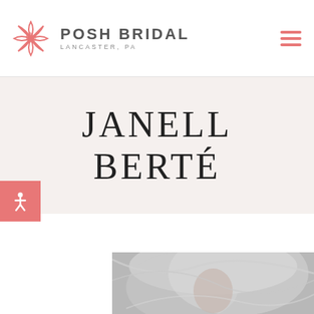POSH BRIDAL LANCASTER, PA
JANELL BERTÉ
[Figure (photo): Black and white photograph of a bride wearing a veil draped over her head and face, looking upward softly, with flowing sheer fabric surrounding her.]